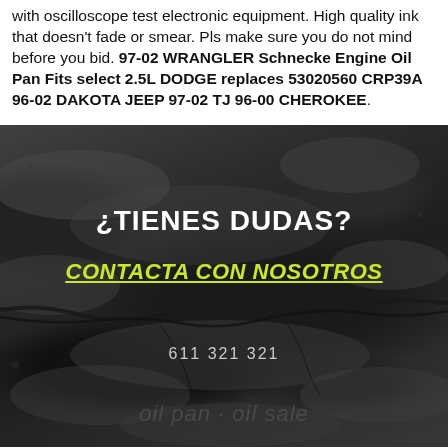with oscilloscope test electronic equipment. High quality ink that doesn't fade or smear. Pls make sure you do not mind before you bid. 97-02 WRANGLER Schnecke Engine Oil Pan Fits select 2.5L DODGE replaces 53020560 CRP39A 96-02 DAKOTA JEEP 97-02 TJ 96-00 CHEROKEE.
[Figure (photo): Dark rocky stone texture background with cracks and fissures, overlaid with Spanish text '¿TIENES DUDAS?' in white bold, 'CONTACTA CON NOSOTROS' in yellow-green bold italic underlined, and phone number '611 321 321' in light gray.]